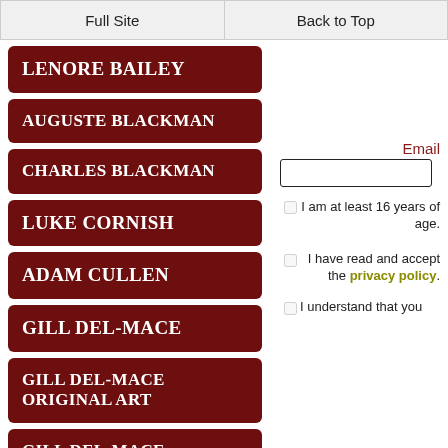Full Site | Back to Top
LENORE BAILEY
AUGUSTE BLACKMAN
CHARLES BLACKMAN
LUKE CORNISH
ADAM CULLEN
GILL DEL-MACE
GILL DEL-MACE ORIGINAL ART
GILL DEL-MACE STRETCHED
Email
I am at least 16 years of age.
I have read and accept the privacy policy.
I understand that you